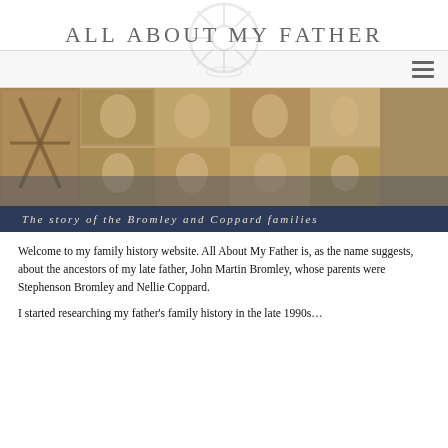[Figure (logo): Ship's wheel / anchor logo with laurel wreath watermark behind the site title 'All About My Father']
All About My Father
[Figure (illustration): Navigation bar with hamburger menu icon on the right]
[Figure (photo): Sepia-toned collage banner of multiple vintage portrait photographs of men and women from the late 19th / early 20th century, plus a windmill and a church]
The story of the Bromley and Coppard families
Welcome to my family history website. All About My Father is, as the name suggests, about the ancestors of my late father, John Martin Bromley, whose parents were Stephenson Bromley and Nellie Coppard.
I started researching my father's family history in the late 1990s…